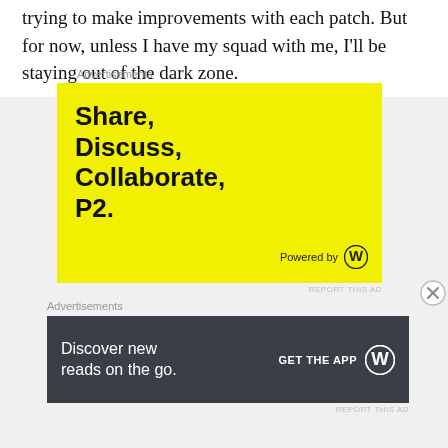trying to make improvements with each patch. But for now, unless I have my squad with me, I'll be staying out of the dark zone.
Advertisements
[Figure (illustration): Yellow advertisement for WordPress P2 with bold text reading 'Share, Discuss, Collaborate, P2.' and 'Powered by' with WordPress logo at bottom right.]
REPORT THIS AD
Advertisements
[Figure (illustration): Dark gray advertisement banner reading 'Discover new reads on the go.' with 'GET THE APP' call to action and WordPress logo on the right.]
REPORT THIS AD